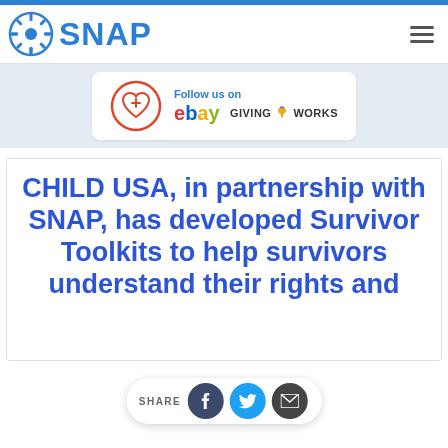SNAP
[Figure (logo): eBay Giving Works banner: Follow us on ebay GIVING WORKS with heart+plus icon in red circle]
CHILD USA, in partnership with SNAP, has developed Survivor Toolkits to help survivors understand their rights and